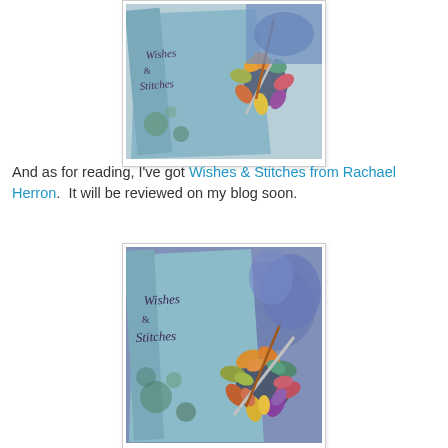[Figure (photo): Photo of 'Wishes & Stitches' book by Rachael Herron alongside a colorful crocheted flower motif with crochet hooks, on a patterned background.]
And as for reading, I've got Wishes & Stitches from Rachael Herron.  It will be reviewed on my blog soon.
[Figure (photo): Second photo of 'Wishes & Stitches' book with blue yarn skein and colorful crocheted flower with crochet hooks.]